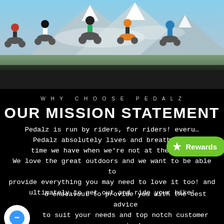[Figure (photo): Mountain bikers lined up with mountains and snow-capped peaks in background]
WHY CHOOSE PEDALZ
OUR MISSION STATEMENT
Pedalz is run by riders, for riders! everу... Pedalz absolutely lives and breathes b... time we have when we're not at the shop... We love the great outdoors and we want to be able to provide everything you may need to love it too! and ultimately to get out and ride your bike!
o endeavour to provide you with the best advice to suit your needs and top notch customer service!